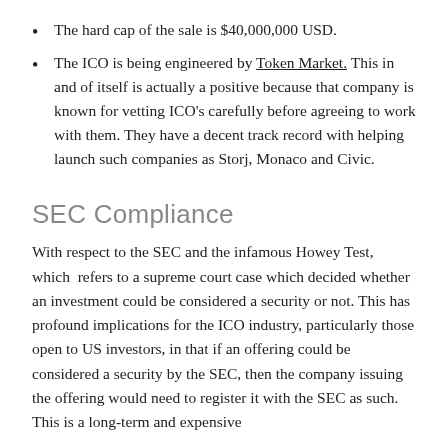The hard cap of the sale is $40,000,000 USD.
The ICO is being engineered by Token Market. This in and of itself is actually a positive because that company is known for vetting ICO's carefully before agreeing to work with them. They have a decent track record with helping launch such companies as Storj, Monaco and Civic.
SEC Compliance
With respect to the SEC and the infamous Howey Test, which refers to a supreme court case which decided whether an investment could be considered a security or not. This has profound implications for the ICO industry, particularly those open to US investors, in that if an offering could be considered a security by the SEC, then the company issuing the offering would need to register it with the SEC as such. This is a long-term and expensive